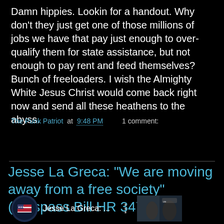Damn hippies. Lookin for a handout. Why don't they just get one of those millions of jobs we have that pay just enough to over-qualify them for state assistance, but not enough to pay rent and feed themselves? Bunch of freeloaders. I wish the Almighty White Jesus Christ would come back right now and send all these heathens to the abyss.
The Punk Patriot at 9:48 PM   1 comment:
Share
Jesse La Greca: "We are moving away from a free society" (Trespass Bill HR 347)
[Figure (screenshot): Video thumbnail preview showing Jesse La Greca with avatar icon and three-dot menu]